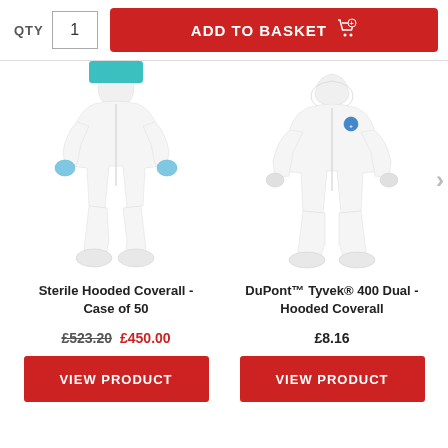QTY  1  ADD TO BASKET
[Figure (photo): Sterile Hooded Coverall product image - white full-body coverall with blue gloves and boot covers]
[Figure (photo): DuPont Tyvek 400 Dual Hooded Coverall product image - white full-body coverall with hood]
Sterile Hooded Coverall - Case of 50
DuPont™ Tyvek® 400 Dual - Hooded Coverall
£523.20  £450.00
£8.16
VIEW PRODUCT
VIEW PRODUCT